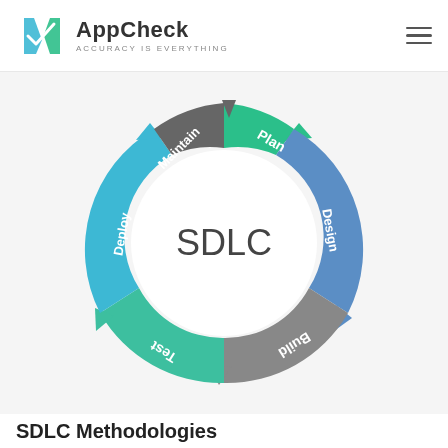AppCheck — ACCURACY IS EVERYTHING
[Figure (flowchart): Circular SDLC diagram with six phases arranged as arrows in a cycle: Maintain (dark gray, top-left), Plan (green, top-right), Design (blue, right), Build (gray, bottom-right), Test (teal, bottom-left), Deploy (cyan, left). The center of the circle contains the text 'SDLC'.]
SDLC Methodologies